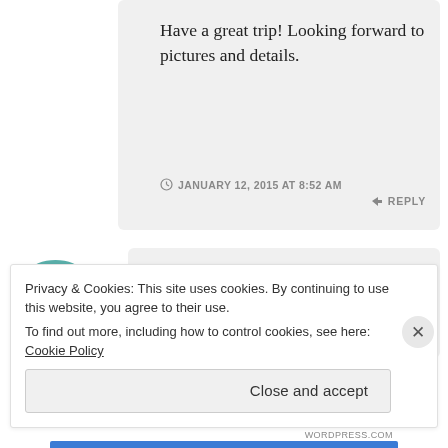Have a great trip! Looking forward to pictures and details.
JANUARY 12, 2015 AT 8:52 AM
↳ REPLY
wanderlustwino
Privacy & Cookies: This site uses cookies. By continuing to use this website, you agree to their use.
To find out more, including how to control cookies, see here: Cookie Policy
Close and accept